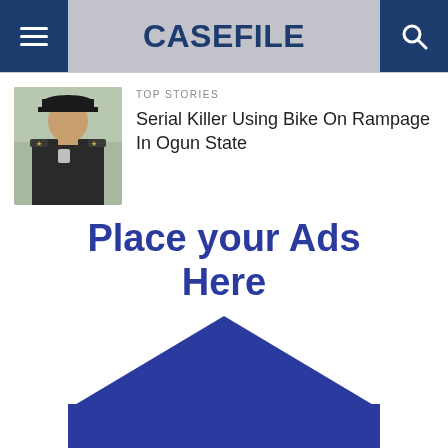CASEFILE
TOP STORIES
Serial Killer Using Bike On Rampage In Ogun State
[Figure (photo): Photo of a police officer in uniform with cap]
Place your Ads Here
Call us on 08023461150